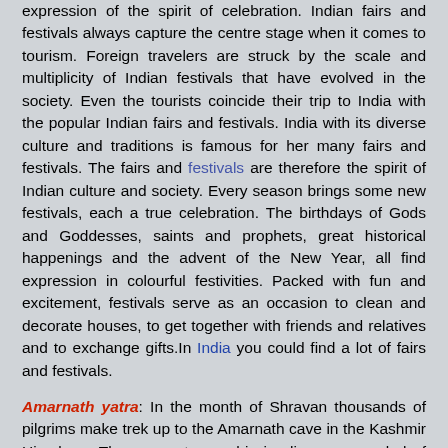expression of the spirit of celebration. Indian fairs and festivals always capture the centre stage when it comes to tourism. Foreign travelers are struck by the scale and multiplicity of Indian festivals that have evolved in the society. Even the tourists coincide their trip to India with the popular Indian fairs and festivals. India with its diverse culture and traditions is famous for her many fairs and festivals. The fairs and festivals are therefore the spirit of Indian culture and society. Every season brings some new festivals, each a true celebration. The birthdays of Gods and Goddesses, saints and prophets, great historical happenings and the advent of the New Year, all find expression in colourful festivities. Packed with fun and excitement, festivals serve as an occasion to clean and decorate houses, to get together with friends and relatives and to exchange gifts.In India you could find a lot of fairs and festivals.
Amarnath yatra: In the month of Shravan thousands of pilgrims make trek up to the Amarnath cave in the Kashmir Himalayas.They come to worship ice lingam a symbol of Lord Shiva.
Ambubasi Mela: The Ambubasi mela is one of the numerous